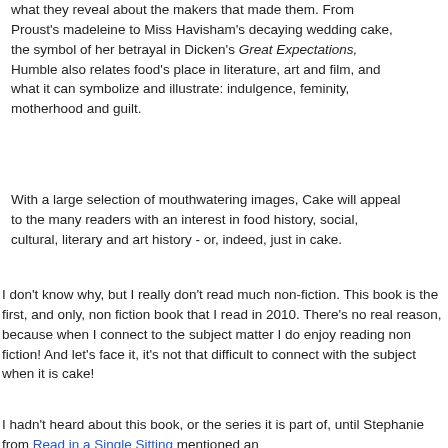what they reveal about the makers that made them. From Proust's madeleine to Miss Havisham's decaying wedding cake, the symbol of her betrayal in Dicken's Great Expectations, Humble also relates food's place in literature, art and film, and what it can symbolize and illustrate: indulgence, feminity, motherhood and guilt.
With a large selection of mouthwatering images, Cake will appeal to the many readers with an interest in food history, social, cultural, literary and art history - or, indeed, just in cake.
I don't know why, but I really don't read much non-fiction. This book is the first, and only, non fiction book that I read in 2010. There's no real reason, because when I connect to the subject matter I do enjoy reading non fiction! And let's face it, it's not that difficult to connect with the subject when it is cake!
I hadn't heard about this book, or the series it is part of, until Stephanie from Read in a Single Sitting mentioned an